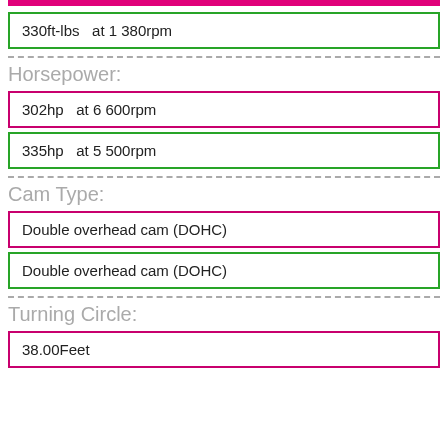330ft-lbs   at 1 380rpm
Horsepower:
302hp   at 6 600rpm
335hp   at 5 500rpm
Cam Type:
Double overhead cam (DOHC)
Double overhead cam (DOHC)
Turning Circle:
38.00Feet